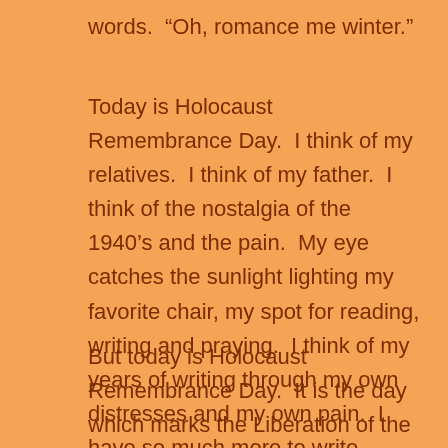words.  “Oh, romance me winter.”
Today is Holocaust Remembrance Day.  I think of my relatives.  I think of my father.  I think of the nostalgia of the 1940’s and the pain.  My eye catches the sunlight lighting my favorite chair, my spot for reading, writing and praying.  I think of my years of writing through my own distresses and my own pain.  I have so much more to write…
But today is Holocaust Remembrance Day.  It is the day which marks the Liberation of the concentration camp at Auschwitz.  I know of